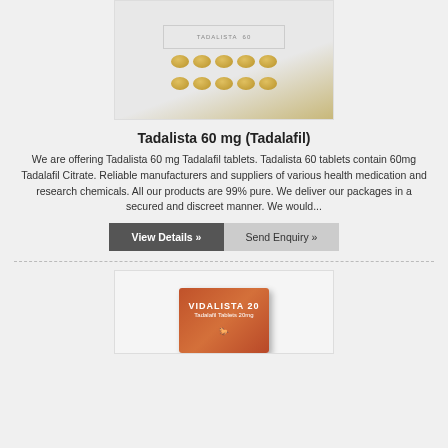[Figure (photo): Photo of Tadalista 60 mg tablet packaging with blister pack of pills visible]
Tadalista 60 mg (Tadalafil)
We are offering Tadalista 60 mg Tadalafil tablets. Tadalista 60 tablets contain 60mg Tadalafil Citrate. Reliable manufacturers and suppliers of various health medication and research chemicals. All our products are 99% pure. We deliver our packages in a secured and discreet manner. We would...
View Details »
Send Enquiry »
[Figure (photo): Photo of Vidalista 20 Tadalafil Tablets 20mg product box in orange/brown color]